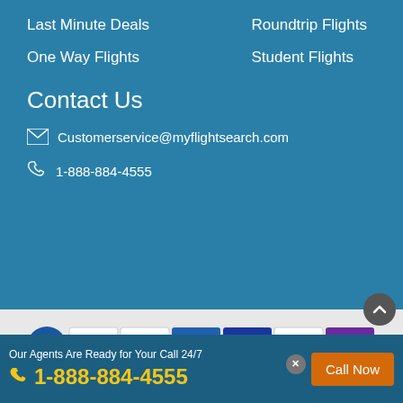Last Minute Deals
Roundtrip Flights
One Way Flights
Student Flights
Contact Us
Customerservice@myflightsearch.com
1-888-884-4555
[Figure (other): Payment badges: IATAN, ASTA, MasterCard, American Express, VISA, Discover, Skrill]
We assure safe and secure transactions through powerful Norton Certification.
[Figure (other): Norton Secured seal powered by DigiCert and CompliAssure Secured powered by Aperia]
© 2003 - 2023 MyFlightSearch. All rights reserved.
Our Agents Are Ready for Your Call 24/7
1-888-884-4555
Call Now